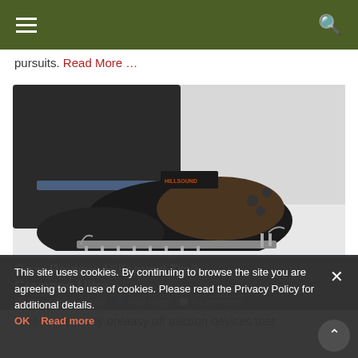Navigation bar with hamburger menu and search icon
pursuits. Read More …
[Figure (photo): Close-up photo of a hiking boot/shoe with a chain crampon traction device attached, standing on snowy/icy ground. A gaiters-style cover is visible at the ankle. The crampon has metal spikes and chains. A watermark reads © BigMagas - Obamas in the lower right corner.]
Gear Review: Hillsound Trail Crampon Ultra
December 14, 2018  Paul Mags  6 Comments
Well-made, easy on/easy off traction devices that
This site uses cookies. By continuing to browse the site you are agreeing to the use of cookies. Please read the Privacy Policy for additional details.
OK   Read more